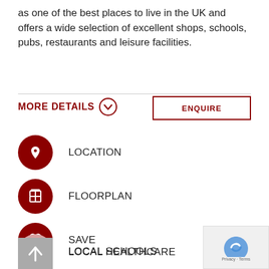as one of the best places to live in the UK and offers a wide selection of excellent shops, schools, pubs, restaurants and leisure facilities.
MORE DETAILS
ENQUIRE
LOCATION
FLOORPLAN
SAVE
LOCAL SCHOOLS
LOCAL HEALTHCARE